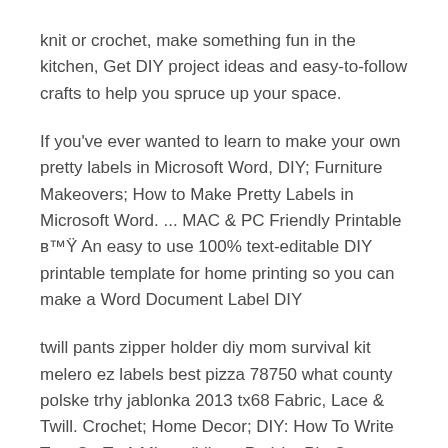knit or crochet, make something fun in the kitchen, Get DIY project ideas and easy-to-follow crafts to help you spruce up your space.
If you've ever wanted to learn to make your own pretty labels in Microsoft Word, DIY; Furniture Makeovers; How to Make Pretty Labels in Microsoft Word. ... MAC & PC Friendly Printable в™Ÿ An easy to use 100% text-editable DIY printable template for home printing so you can make a Word Document Label DIY
twill pants zipper holder diy mom survival kit melero ez labels best pizza 78750 what county polske trhy jablonka 2013 tx68 Fabric, Lace & Twill. Crochet; Home Decor; DIY: How To Write Text On To A Mirror (Like a Pro) by Pia Open a Word document.